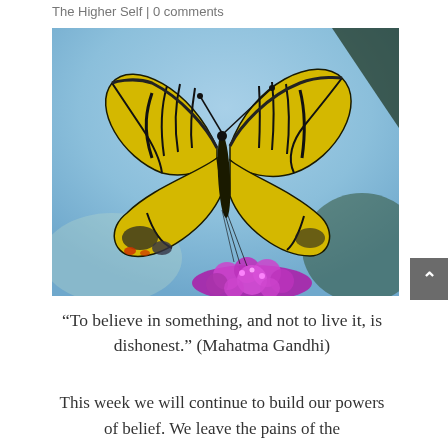The Higher Self | 0 comments
[Figure (photo): A yellow and black swallowtail butterfly perched on a purple flower (butterfly bush) against a light blue sky background.]
“To believe in something, and not to live it, is dishonest.” (Mahatma Gandhi)
This week we will continue to build our powers of belief. We leave the pains of the